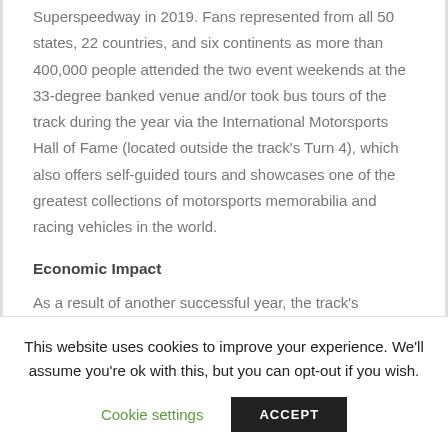Superspeedway in 2019. Fans represented from all 50 states, 22 countries, and six continents as more than 400,000 people attended the two event weekends at the 33-degree banked venue and/or took bus tours of the track during the year via the International Motorsports Hall of Fame (located outside the track's Turn 4), which also offers self-guided tours and showcases one of the greatest collections of motorsports memorabilia and racing vehicles in the world.
Economic Impact
As a result of another successful year, the track's continued trend of creating thousands of jobs and incredible economic
This website uses cookies to improve your experience. We'll assume you're ok with this, but you can opt-out if you wish.
Cookie settings  ACCEPT